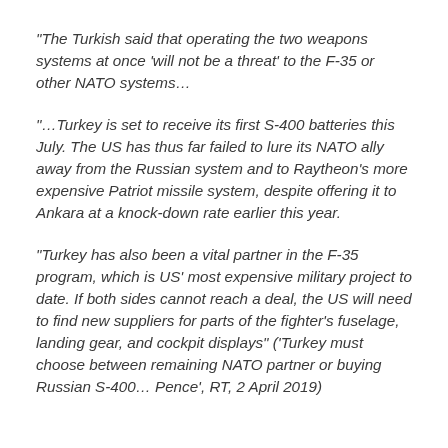“The Turkish said that operating the two weapons systems at once ‘will not be a threat’ to the F-35 or other NATO systems…
“…Turkey is set to receive its first S-400 batteries this July. The US has thus far failed to lure its NATO ally away from the Russian system and to Raytheon’s more expensive Patriot missile system, despite offering it to Ankara at a knock-down rate earlier this year.
“Turkey has also been a vital partner in the F-35 program, which is US’ most expensive military project to date. If both sides cannot reach a deal, the US will need to find new suppliers for parts of the fighter’s fuselage, landing gear, and cockpit displays” (‘Turkey must choose between remaining NATO partner or buying Russian S-400… Pence’, RT, 2 April 2019)